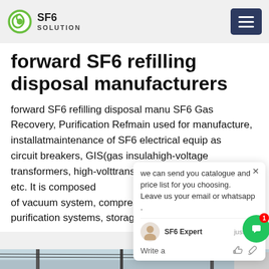SF6 SOLUTION
forward SF6 refilling disposal manufacturers
forward SF6 refilling disposal manufacturers SF6 Gas Recovery, Purification Refilling Equipment main used for manufacture, installation, maintenance of SF6 electrical equipment, as circuit breakers, GIS(gas insulated switchgear), high-voltage transformers, high-voltage transmission lines, substations, etc. It is composed of vacuum system, compression systems, purification systems, storage system, condensing
[Figure (screenshot): Chat popup overlay with SF6 Expert: 'we can send you catalogue and price list for you choosing. Leave us your email or whatsapp.' with Write a message field, like and attachment icons.]
[Figure (photo): Outdoor electrical substation or transmission line infrastructure, showing utility poles and electrical equipment against a sky background.]